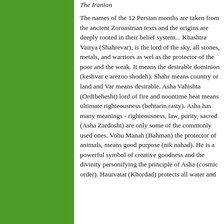[Figure (illustration): Solid green rectangle occupying the left portion of the page]
The Iranian
The names of the 12 Persian months are taken from the ancient Zoroastrian texts and the origins are deeply rooted in their belief system... Khashtra Vairya (Shahrevar), is the lord of the sky, all stones, metals, and warriors as wel as the protector of the poor and the weak. It means the desirable dominion (keshvar e arezoo shodeh). Shahr means country or land and Var means desirable. Asha Vahishta (Ordibehesht) lord of fire and noontime heat means ultimate righteousness (behtarin rasty). Asha has many meanings - righteousness, law, purity, sacred (Asha Zardosht) are only some of the commonly used ones. Vohu Manah (Bahman) the protector of animals, means good purpose (nik nahad). He is a powerful symbol of creative goodness and the divinity personifying the principle of Asha (cosmic order). Haurvatat (Khordad) protects all water and...